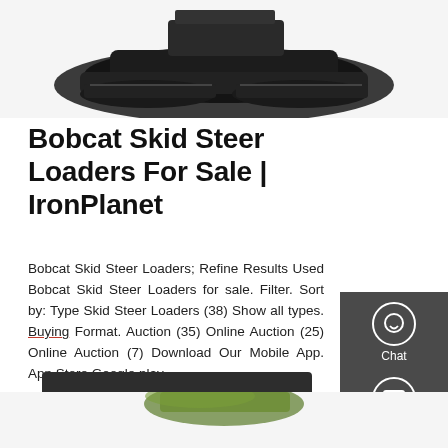[Figure (photo): Partial view of a black Bobcat skid steer loader machine from above, showing tracks and front bucket, cropped at top of page.]
Bobcat Skid Steer Loaders For Sale | IronPlanet
Bobcat Skid Steer Loaders; Refine Results Used Bobcat Skid Steer Loaders for sale. Filter. Sort by: Type Skid Steer Loaders (38) Show all types. Buying Format. Auction (35) Online Auction (25) Online Auction (7) Download Our Mobile App. App Store Google play
[Figure (infographic): Dark gray side panel with Chat, Email, and Contact buttons, each with a circle icon. A red divider separates Email and Contact sections.]
Get a Quote
[Figure (photo): Partial view of a green piece of heavy equipment visible at the bottom of the page, partially cropped.]